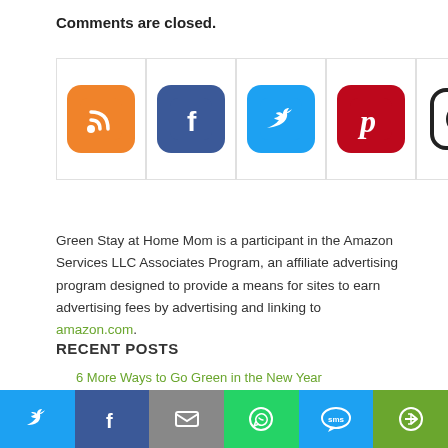Comments are closed.
[Figure (infographic): Row of five social media icon buttons: RSS (orange), Facebook (blue), Twitter (blue), Pinterest (red), Instagram (black/white)]
Green Stay at Home Mom is a participant in the Amazon Services LLC Associates Program, an affiliate advertising program designed to provide a means for sites to earn advertising fees by advertising and linking to amazon.com.
RECENT POSTS
6 More Ways to Go Green in the New Year
16 Simple, Green New Year's Resolutions
10 Obnoxious Disposable Products You Don't Need
25 Non-Toy Gifts For Preschoolers
[Figure (infographic): Bottom share bar with six colored buttons: Twitter (light blue), Facebook (dark blue), Email (gray), WhatsApp (green), SMS (blue), More (green)]